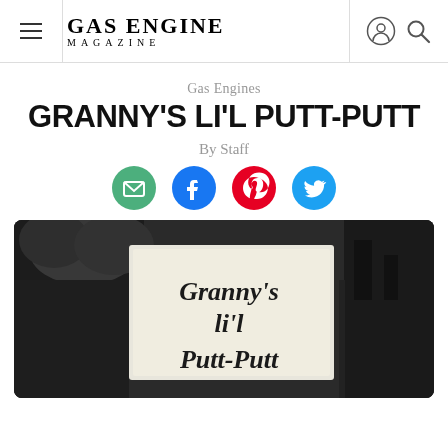Gas Engine Magazine
Gas Engines
GRANNY'S LI'L PUTT-PUTT
By Staff
[Figure (other): Social sharing icons: email (green), Facebook (blue), Pinterest (red), Twitter (blue)]
[Figure (photo): Black and white photograph of a sign reading 'Granny's li'l Putt-Putt' in old English gothic lettering, mounted on what appears to be a wooden structure or engine display.]